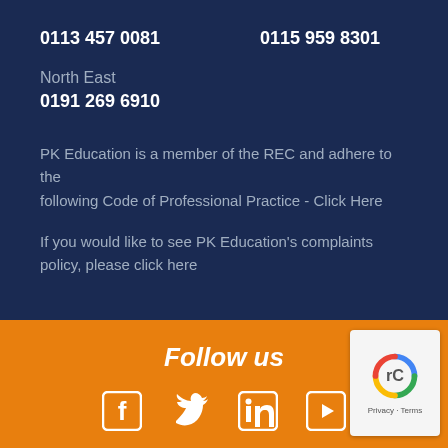0113 457 0081    0115 959 8301
North East
0191 269 6910
PK Education is a member of the REC and adhere to the following Code of Professional Practice - Click Here
If you would like to see PK Education's complaints policy, please click here
Follow us
[Figure (infographic): Social media icons: Facebook, Twitter, LinkedIn, YouTube]